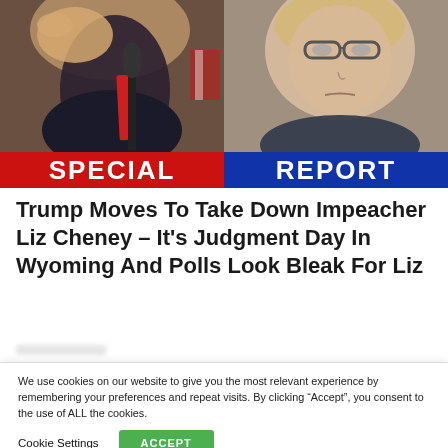[Figure (photo): Split image: left side shows a man in a suit pointing toward camera at a microphone with red tie visible; right side shows a woman with blonde hair and glasses looking stern. A 'SPECIAL REPORT' banner overlays the bottom of the image — left half red background with 'SPECIAL', right half blue background with 'REPORT'.]
Trump Moves To Take Down Impeacher Liz Cheney – It's Judgment Day In Wyoming And Polls Look Bleak For Liz
We use cookies on our website to give you the most relevant experience by remembering your preferences and repeat visits. By clicking "Accept", you consent to the use of ALL the cookies.
Cookie Settings
ACCEPT